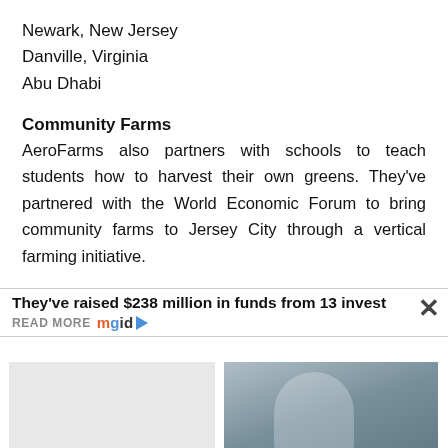Newark, New Jersey
Danville, Virginia
Abu Dhabi
Community Farms
AeroFarms also partners with schools to teach students how to harvest their own greens. They've partnered with the World Economic Forum to bring community farms to Jersey City through a vertical farming initiative.
They've raised $238 million in funds from 13 invest
READ MORE mgid
[Figure (photo): Photo of a woman on an airplane, air hostess context]
Celebs' Beauty Tips That Run The Range From Cool To Super Weird
We List The Top Airlines With The Most Attractive Air Hostess